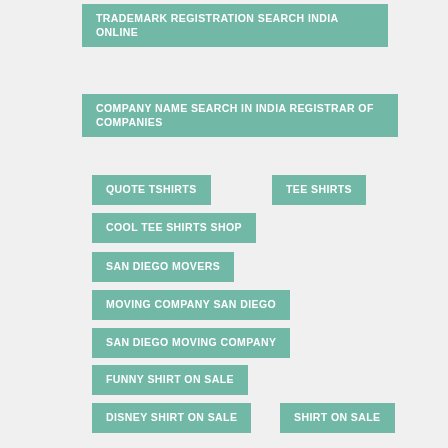TRADEMARK REGISTRATION SEARCH INDIA ONLINE
COMPANY NAME SEARCH IN INDIA REGISTRAR OF COMPANIES
QUOTE TSHIRTS
TEE SHIRTS
COOL TEE SHIRTS SHOP
SAN DIEGO MOVERS
MOVING COMPANY SAN DIEGO
SAN DIEGO MOVING COMPANY
FUNNY SHIRT ON SALE
DISNEY SHIRT ON SALE
SHIRT ON SALE
WATCH MOVIES ONLINE 123
WATCH MOVIES FREE
OMOVIES